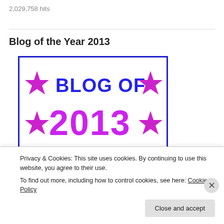2,029,758 hits
Blog of the Year 2013
[Figure (illustration): Blog of the Year 2013 award badge with purple stars and blue/magenta text on white background with blue border]
Privacy & Cookies: This site uses cookies. By continuing to use this website, you agree to their use.
To find out more, including how to control cookies, see here: Cookie Policy